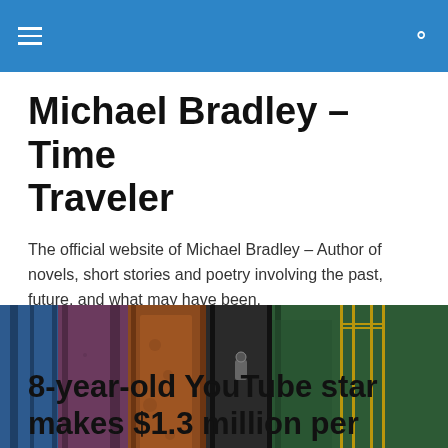≡  🔍
Michael Bradley – Time Traveler
The official website of Michael Bradley – Author of novels, short stories and poetry involving the past, future, and what may have been.
[Figure (photo): Close-up photo of several old book spines lined up together — blue, purple, brown, black, and green leather-bound books.]
8-year-old YouTube star makes $1.3 million per year